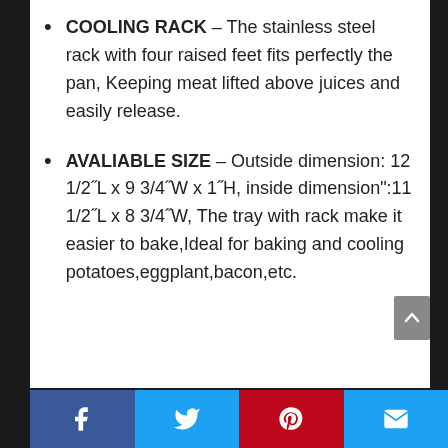COOLING RACK – The stainless steel rack with four raised feet fits perfectly the pan, Keeping meat lifted above juices and easily release.
AVALIABLE SIZE – Outside dimension: 12 1/2"L x 9 3/4"W x 1"H, inside dimension":11 1/2"L x 8 3/4"W, The tray with rack make it easier to bake,Ideal for baking and cooling potatoes,eggplant,bacon,etc.
Social share bar: Facebook, Twitter, Pinterest, Email